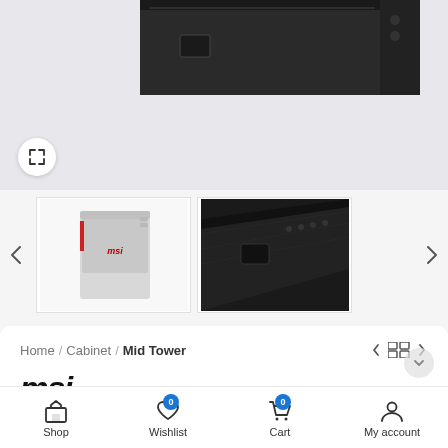[Figure (photo): Top portion of an e-commerce product page showing a partial view of a black gaming PC tower/cabinet against a light gray background, with an expand/fullscreen button in the bottom-left corner.]
[Figure (photo): Thumbnail gallery row with a left navigation arrow, two product thumbnails (one showing a white/gray MSI gaming mid-tower cabinet front view, and one showing a close-up angled view of a black gaming cabinet top panel), and a right navigation arrow.]
Home / Cabinet / Mid Tower
[Figure (logo): MSI logo in bold italic text]
MSI MPG Gungnir 100D Gaming
Shop   Wishlist 0   Cart 0   My account